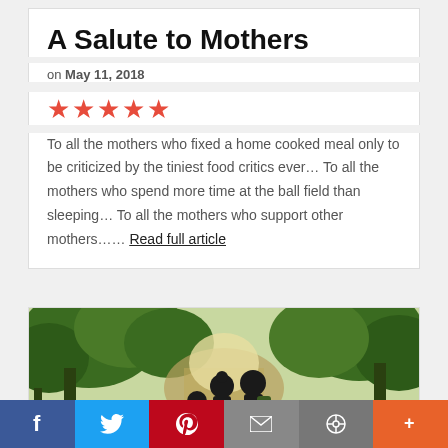A Salute to Mothers
on May 11, 2018
★★★★★
To all the mothers who fixed a home cooked meal only to be criticized by the tiniest food critics ever… To all the mothers who spend more time at the ball field than sleeping… To all the mothers who support other mothers……  Read full article
[Figure (photo): Three silhouetted figures — an adult and two children — standing near a river surrounded by lush green trees, viewed from behind.]
f  Twitter  Pinterest  Email  Link  +